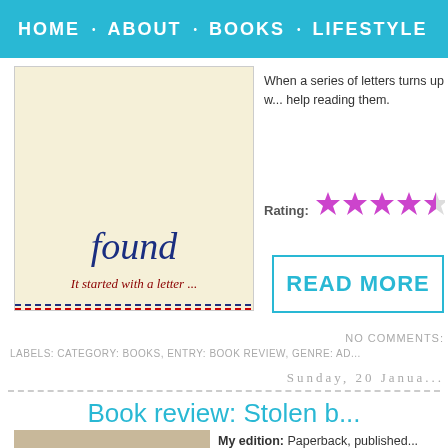HOME · ABOUT · BOOKS · LIFESTYLE
[Figure (illustration): Book cover with script text 'found' and tagline 'It started with a letter ...' on cream background with dashed border at bottom]
When a series of letters turns up w... help reading them.
Rating: ★★★★(half star)
READ MORE
NO COMMENTS:
LABELS: CATEGORY: BOOKS, ENTRY: BOOK REVIEW, GENRE: AD...
Sunday, 20 Janua...
Book review: Stolen b...
[Figure (photo): Partial book cover photo]
My edition: Paperback, published...